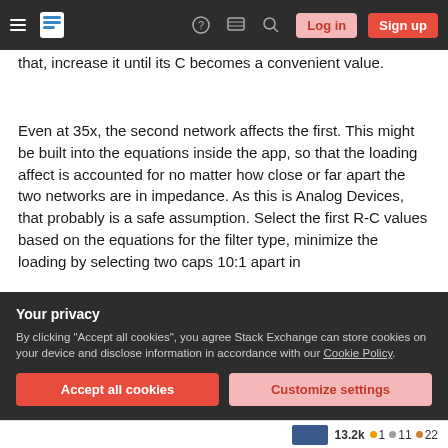Stack Exchange navigation bar with hamburger menu, logo, help, chat, search icons, Log in and Sign up buttons
that, increase it until its C becomes a convenient value.
Even at 35x, the second network affects the first. This might be built into the equations inside the app, so that the loading affect is accounted for no matter how close or far apart the two networks are in impedance. As this is Analog Devices, that probably is a safe assumption. Select the first R-C values based on the equations for the filter type, minimize the loading by selecting two caps 10:1 apart in
Your privacy
By clicking "Accept all cookies", you agree Stack Exchange can store cookies on your device and disclose information in accordance with our Cookie Policy.
Accept all cookies
Customize settings
13.2k • 1 • 11 • 22